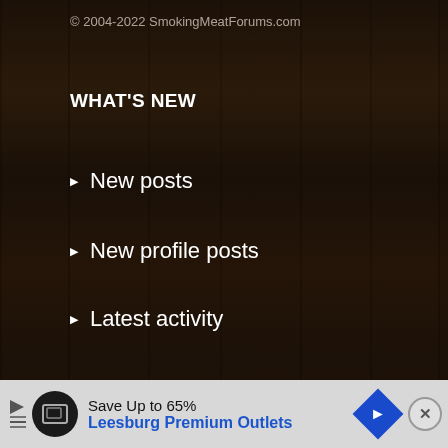© 2004-2022 SmokingMeatForums.com
WHAT'S NEW
New posts
New profile posts
Latest activity
SHARE THIS PAGE
[Figure (other): Social share icons: Reddit, Pinterest, Tumblr, WhatsApp, Email, Link]
[Figure (other): Navigation up/down arrow buttons in gold/amber color]
SMF
[Figure (other): Advertisement banner: Save Up to 65% Leesburg Premium Outlets]